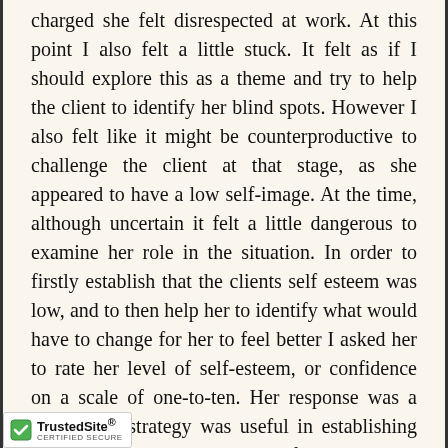charged she felt disrespected at work. At this point I also felt a little stuck. It felt as if I should explore this as a theme and try to help the client to identify her blind spots. However I also felt like it might be counterproductive to challenge the client at that stage, as she appeared to have a low self-image. At the time, although uncertain it felt a little dangerous to examine her role in the situation. In order to firstly establish that the clients self esteem was low, and to then help her to identify what would have to change for her to feel better I asked her to rate her level of self-esteem, or confidence on a scale of one-to-ten. Her response was a three. This strategy was useful in establishing that the client was unhappy and felt stuck in her situation, and therefore provided a platform to
[Figure (logo): TrustedSite Certified Secure badge with green checkmark]